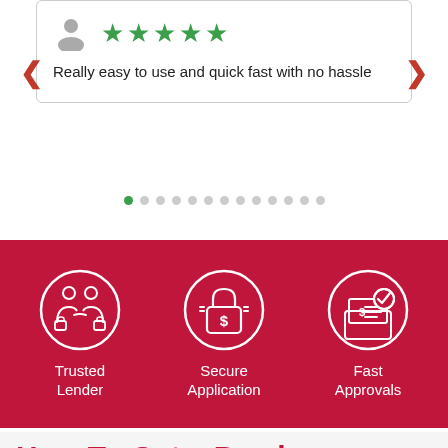[Figure (illustration): Review card with user icon, 5 green stars, and review text. Navigation arrows on sides. Carousel dots below.]
Really easy to use and quick fast with no hassle
[Figure (infographic): Red banner with three white circle icons: Trusted Lender (two people handshaking), Secure Application (padlock with dollar sign), Fast Approvals (laptop with dollar document and checkmark)]
How To Get a Payday Loan in Mount Forest